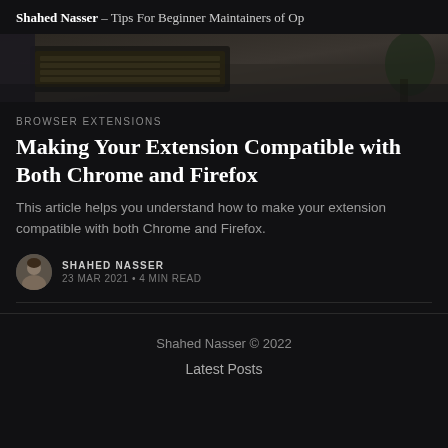Shahed Nasser – Tips For Beginner Maintainers of Op
[Figure (photo): Hero image showing a laptop keyboard on a desk, dark toned photograph]
BROWSER EXTENSIONS
Making Your Extension Compatible with Both Chrome and Firefox
This article helps you understand how to make your extension compatible with both Chrome and Firefox.
SHAHED NASSER
23 MAR 2021 • 4 MIN READ
Shahed Nasser © 2022
Latest Posts